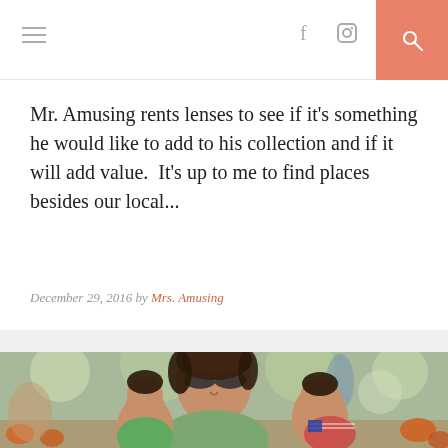Navigation bar with hamburger menu, Facebook and Instagram icons, and search button
Mr. Amusing rents lenses to see if it’s something he would like to add to his collection and if it will add value.  It’s up to me to find places besides our local...
December 29, 2016 by Mrs. Amusing
[Figure (photo): A woman wearing sunglasses smiling outdoors, with two young children leaning on her, pumpkins visible in the background. Outdoor fall scene, bokeh background with trees and a person in the distance.]